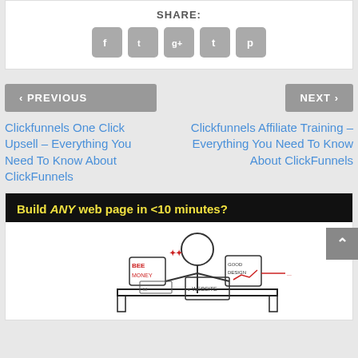SHARE:
[Figure (other): Social sharing icons: Facebook, Twitter, Google+, Tumblr, Pinterest — grey rounded square buttons]
< PREVIOUS
NEXT >
Clickfunnels One Click Upsell – Everything You Need To Know About ClickFunnels
Clickfunnels Affiliate Training – Everything You Need To Know About ClickFunnels
[Figure (illustration): Advertisement banner: 'Build ANY web page in <10 minutes?' with a sketch illustration of a stressed person at a desk with multiple screens/tablets showing BEER, MONEY, GOOD DESIGN, WEBSITE labels]